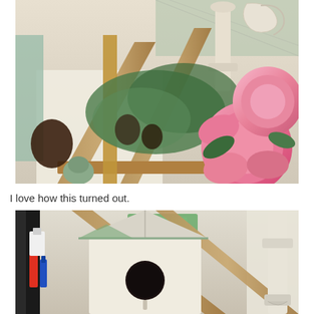[Figure (photo): Close-up photo of a wooden tray or carrier with pink peony flowers, greenery/leaves, pine cones, and a white candlestick holder in the background. Various decorative items visible on a table.]
I love how this turned out.
[Figure (photo): Close-up photo of a white painted birdhouse with a round hole, sitting inside a wooden tray/carrier. Green floral foam and a white candlestick are visible in the background.]